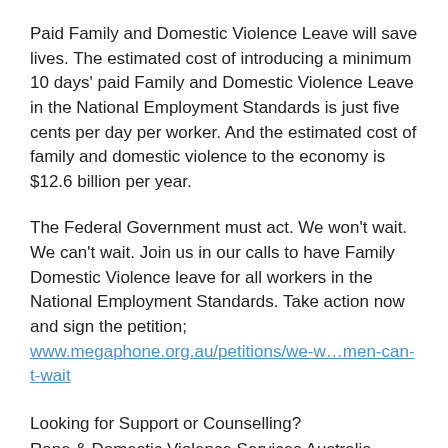Paid Family and Domestic Violence Leave will save lives. The estimated cost of introducing a minimum 10 days' paid Family and Domestic Violence Leave in the National Employment Standards is just five cents per day per worker. And the estimated cost of family and domestic violence to the economy is $12.6 billion per year.
The Federal Government must act. We won't wait. We can't wait. Join us in our calls to have Family Domestic Violence leave for all workers in the National Employment Standards. Take action now and sign the petition;
www.megaphone.org.au/petitions/we-w…men-can-t-wait
Looking for Support or Counselling?
Rape & Domestic Violence Services Australia
Domestic Violence Impact Line
1800 847 579